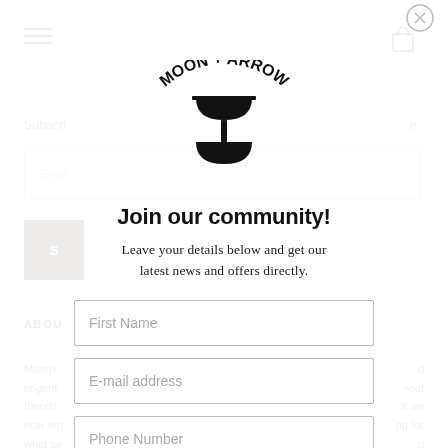[Figure (logo): Moon + Arrow logo with hourglass shape in center, text arranged in an arc]
Join our community!
Leave your details below and get our latest news and offers directly.
First Name (input field)
E-mail address (input field)
Phone Number (input field)